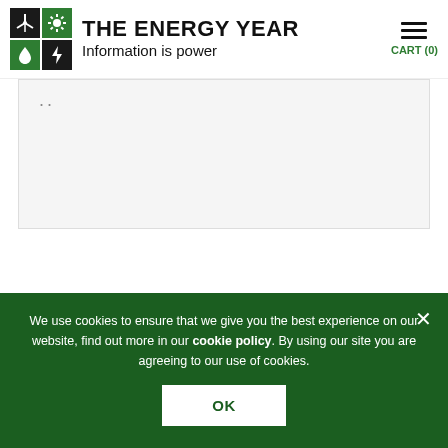THE ENERGY YEAR — Information is power
[Figure (logo): The Energy Year logo with 2x2 grid of icons (wind turbine, sun, water drop, lightning bolt) in black and green squares, followed by title 'THE ENERGY YEAR' and subtitle 'Information is power']
We use cookies to ensure that we give you the best experience on our website, find out more in our cookie policy. By using our site you are agreeing to our use of cookies.
OK